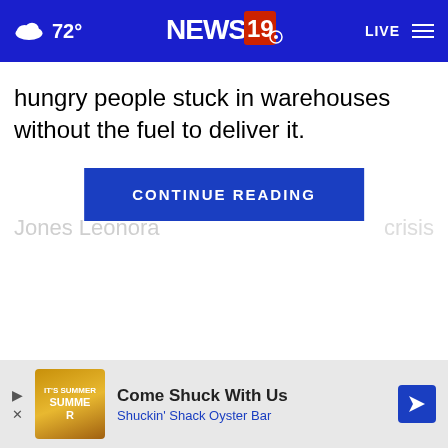72° NEWS 19 LIVE
hungry people stuck in warehouses without the fuel to deliver it.
CONTINUE READING
Jones Leonora...                          ...crisis
[Figure (screenshot): Advertisement banner: Come Shuck With Us - Shuckin' Shack Oyster Bar]
Come Shuck With Us
Shuckin' Shack Oyster Bar